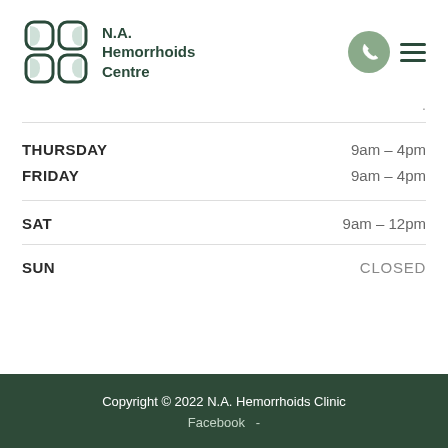[Figure (logo): N.A. Hemorrhoids Centre logo with a four-leaf/square icon in dark green and the clinic name]
| Day | Hours |
| --- | --- |
| THURSDAY | 9am – 4pm |
| FRIDAY | 9am – 4pm |
| SAT | 9am – 12pm |
| SUN | CLOSED |
Copyright © 2022 N.A. Hemorrhoids Clinic
Facebook  -